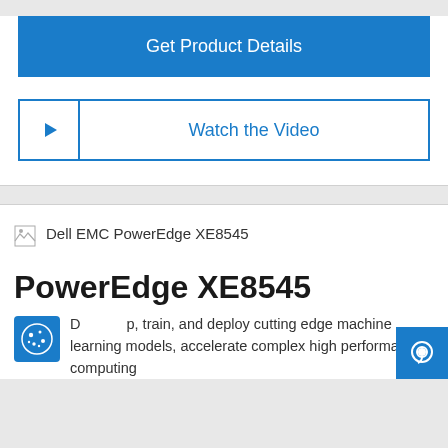Get Product Details
Watch the Video
[Figure (screenshot): Broken image placeholder for Dell EMC PowerEdge XE8545 product image with alt text label]
PowerEdge XE8545
Develop, train, and deploy cutting edge machine learning models, accelerate complex high performance computing